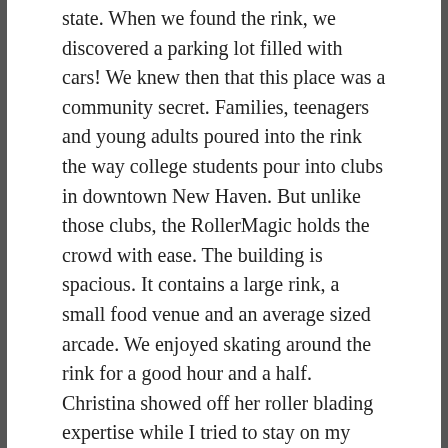state.  When we found the rink, we  discovered a parking lot filled with cars!  We knew then that this place was a community secret.  Families, teenagers and young adults poured into the rink the way college students pour into clubs in downtown New Haven.  But unlike those clubs, the RollerMagic holds the crowd with ease. The building is spacious.  It contains a large rink, a small food venue and an average sized arcade. We enjoyed skating around the rink for a good hour and a half. Christina showed off her roller blading expertise while I tried to stay on my feet. You could tell the customers were regulars by their expertise as well.  We enjoyed watching the skaters show off their jumps, dance moves and other crazy tricks.